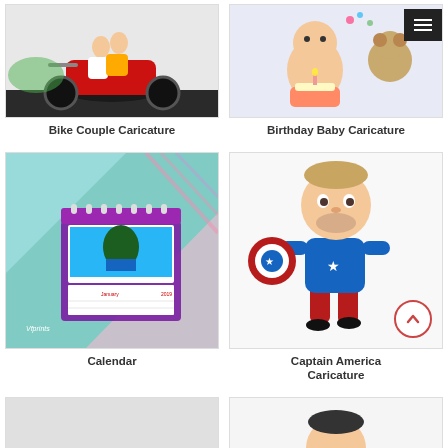[Figure (illustration): Caricature illustration of a couple on a motorcycle]
Bike Couple Caricature
[Figure (illustration): Birthday baby caricature with cake and teddy bear]
Birthday Baby Caricature
[Figure (photo): Photo of a desktop calendar with tropical island scene]
Calendar
[Figure (illustration): Captain America caricature with shield]
Captain America Caricature
[Figure (photo): Partial bottom row left image]
[Figure (illustration): Partial bottom row right image showing a person's head]